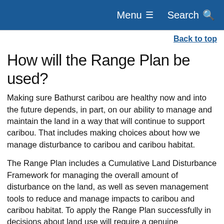Menu  Search
Back to top
How will the Range Plan be used?
Making sure Bathurst caribou are healthy now and into the future depends, in part, on our ability to manage and maintain the land in a way that will continue to support caribou. That includes making choices about how we manage disturbance to caribou and caribou habitat.
The Range Plan includes a Cumulative Land Disturbance Framework for managing the overall amount of disturbance on the land, as well as seven management tools to reduce and manage impacts to caribou and caribou habitat. To apply the Range Plan successfully in decisions about land use will require a genuine commitment from governments, organizations, industry, communities and individuals across multiple jurisdictions.